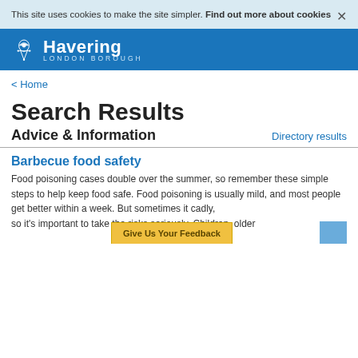This site uses cookies to make the site simpler. Find out more about cookies
[Figure (logo): Havering London Borough logo with coat of arms icon on blue background]
< Home
Search Results
Advice & Information   Directory results
Barbecue food safety
Food poisoning cases double over the summer, so remember these simple steps to help keep food safe. Food poisoning is usually mild, and most people get better within a week. But sometimes it ca... adly, so it's important to take the risks seriously. Children, older